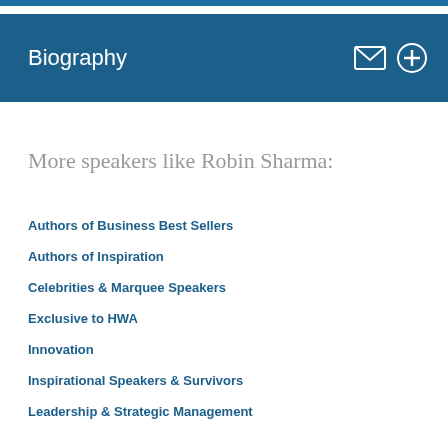Biography
More speakers like Robin Sharma:
Authors of Business Best Sellers
Authors of Inspiration
Celebrities & Marquee Speakers
Exclusive to HWA
Innovation
Inspirational Speakers & Survivors
Leadership & Strategic Management